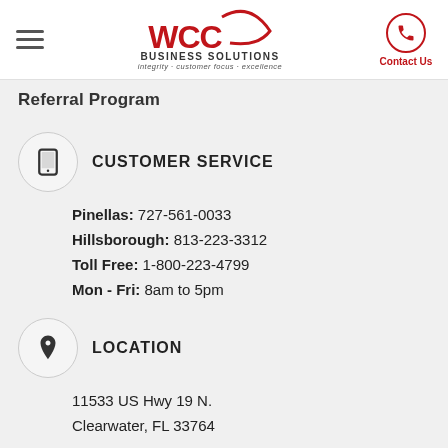WCC Business Solutions — integrity · customer focus · excellence | Contact Us
Referral Program
CUSTOMER SERVICE
Pinellas: 727-561-0033
Hillsborough: 813-223-3312
Toll Free: 1-800-223-4799
Mon - Fri: 8am to 5pm
LOCATION
11533 US Hwy 19 N.
Clearwater, FL 33764
EMAIL